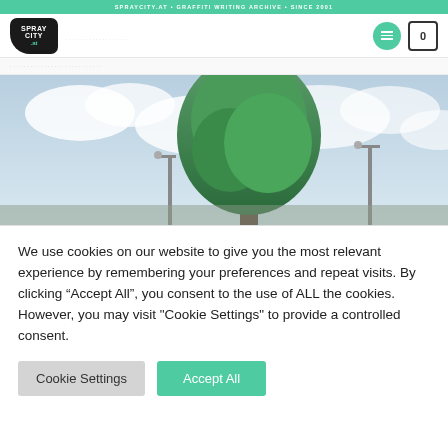SPRAYCITY.AT • GRAFFITI WRITING ARCHIVE • SINCE 2001
[Figure (logo): SprayCity.at logo — black rounded speech-bubble shape with white text 'SPRAY CITY' and green '.at' marker]
[Figure (photo): Outdoor urban photo showing a large green tree against a cloudy sky with street lamps visible in the background]
We use cookies on our website to give you the most relevant experience by remembering your preferences and repeat visits. By clicking “Accept All”, you consent to the use of ALL the cookies. However, you may visit "Cookie Settings" to provide a controlled consent.
Cookie Settings | Accept All